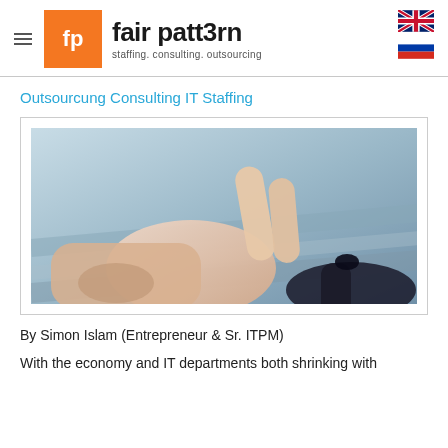fair patt3rn — staffing. consulting. outsourcing
Outsourcung Consulting IT Staffing
[Figure (photo): Close-up photo of a human hand with two fingers reaching toward/touching a dark object, with a blurred light-blue background. Suggests a touching/connecting concept.]
By Simon Islam (Entrepreneur & Sr. ITPM)
With the economy and IT departments both shrinking with